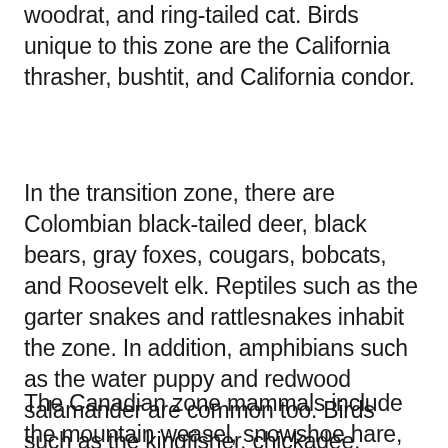woodrat, and ring-tailed cat. Birds unique to this zone are the California thrasher, bushtit, and California condor.
In the transition zone, there are Colombian black-tailed deer, black bears, gray foxes, cougars, bobcats, and Roosevelt elk. Reptiles such as the garter snakes and rattlesnakes inhabit the zone. In addition, amphibians such as the water puppy and redwood salamander are common too. Birds such as the kingfisher, chickadee, towhee, and hummingbird thrive here as well.
The Canadian zone mammals include the mountain weasel, snowshoe hare, and several species of chipmunks. Conspicuous birds